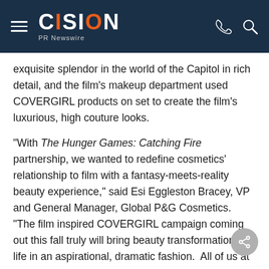CISION PR Newswire
exquisite splendor in the world of the Capitol in rich detail, and the film's makeup department used COVERGIRL products on set to create the film's luxurious, high couture looks.
"With The Hunger Games: Catching Fire partnership, we wanted to redefine cosmetics' relationship to film with a fantasy-meets-reality beauty experience," said Esi Eggleston Bracey, VP and General Manager, Global P&G Cosmetics. "The film inspired COVERGIRL campaign coming out this fall truly will bring beauty transformation to life in an aspirational, dramatic fashion.  All of us at COVERGIRL were captivated Suzanne Collins' novels and the first film, so we're